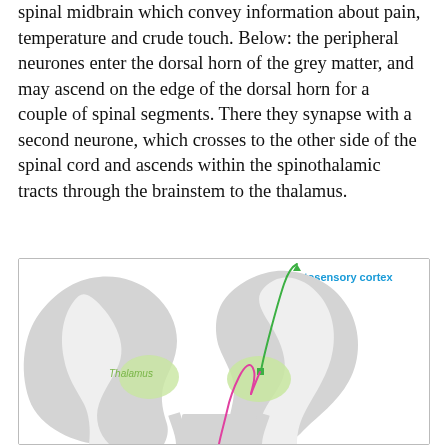spinal midbrain which convey information about pain, temperature and crude touch. Below: the peripheral neurones enter the dorsal horn of the grey matter, and may ascend on the edge of the dorsal horn for a couple of spinal segments. There they synapse with a second neurone, which crosses to the other side of the spinal cord and ascends within the spinothalamic tracts through the brainstem to the thalamus.
[Figure (illustration): Anatomical diagram showing brain cross-section with thalamus labeled in green, and neural pathways drawn: a pink/magenta fiber and a green fiber ascending from below through the brainstem to the somatosensory cortex. The somatosensory cortex label appears in blue at the top right. The diagram shows both hemispheres of the brain in grey silhouette.]